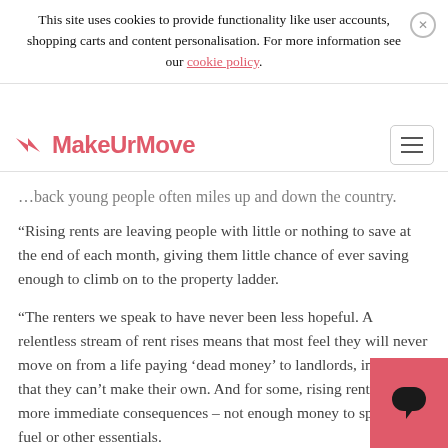This site uses cookies to provide functionality like user accounts, shopping carts and content personalisation. For more information see our cookie policy.
D> MakeUrMove
…back young people often miles up and down the country.
“Rising rents are leaving people with little or nothing to save at the end of each month, giving them little chance of ever saving enough to climb on to the property ladder.
“The renters we speak to have never been less hopeful. A relentless stream of rent rises means that most feel they will never move on from a life paying ‘dead money’ to landlords, in a home that they can’t make their own. And for some, rising rents have more immediate consequences – not enough money to spend on fuel or other essentials.